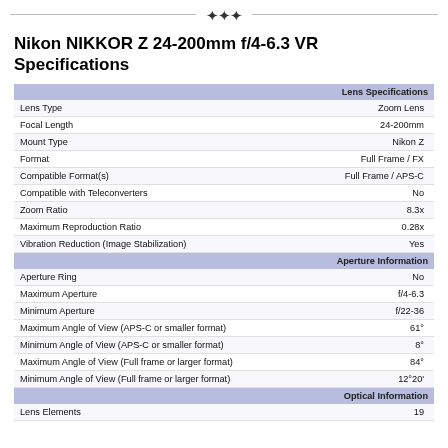✦✦✦
Nikon NIKKOR Z 24-200mm f/4-6.3 VR Specifications
| Specification | Value |
| --- | --- |
| Lens Specifications |  |
| Lens Type | Zoom Lens |
| Focal Length | 24-200mm |
| Mount Type | Nikon Z |
| Format | Full Frame / FX |
| Compatible Format(s) | Full Frame / APS-C |
| Compatible with Teleconverters | No |
| Zoom Ratio | 8.3x |
| Maximum Reproduction Ratio | 0.28x |
| Vibration Reduction (Image Stabilization) | Yes |
| Aperture Information |  |
| Aperture Ring | No |
| Maximum Aperture | f/4-6.3 |
| Minimum Aperture | f/22-36 |
| Maximum Angle of View (APS-C or smaller format) | 61° |
| Minimum Angle of View (APS-C or smaller format) | 8° |
| Maximum Angle of View (Full frame or larger format) | 84° |
| Minimum Angle of View (Full frame or larger format) | 12°20' |
| Optical Information |  |
| Lens Elements | 19 |